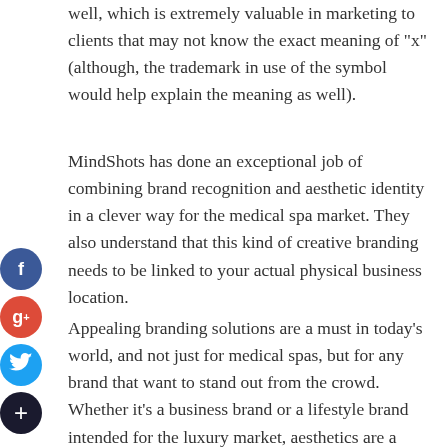well, which is extremely valuable in marketing to clients that may not know the exact meaning of "x" (although, the trademark in use of the symbol would help explain the meaning as well).
MindShots has done an exceptional job of combining brand recognition and aesthetic identity in a clever way for the medical spa market. They also understand that this kind of creative branding needs to be linked to your actual physical business location.
Appealing branding solutions are a must in today's world, and not just for medical spas, but for any brand that want to stand out from the crowd. Whether it's a business brand or a lifestyle brand intended for the luxury market, aesthetics are a crucial element that goes far beyond just looking "pretty" to making people think about your brand.